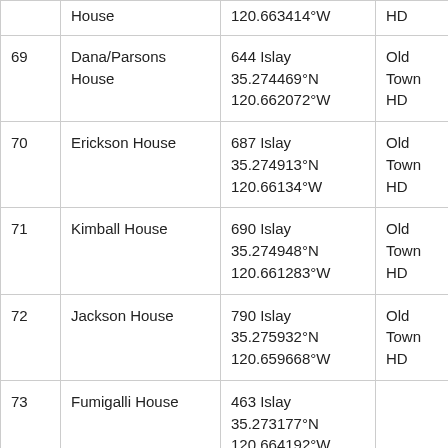| # | Name | Address / Coordinates | District |
| --- | --- | --- | --- |
|  | House | 120.663414°W | HD |
| 69 | Dana/Parsons House | 644 Islay
35.274469°N
120.662072°W | Old Town HD |
| 70 | Erickson House | 687 Islay
35.274913°N
120.66134°W | Old Town HD |
| 71 | Kimball House | 690 Islay
35.274948°N
120.661283°W | Old Town HD |
| 72 | Jackson House | 790 Islay
35.275932°N
120.659668°W | Old Town HD |
| 73 | Fumigalli House | 463 Islay
35.273177°N
120.664192°W |  |